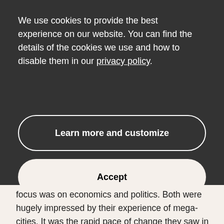We use cookies to provide the best experience on our website. You can find the details of the cookies we use and how to disable them in our privacy policy.
Learn more and customize
Accept
focus was on economics and politics. Both were hugely impressed by their experience of mega-cities. It was the rapid pace of change they saw in Singapore and Shanghai that inspired them after completing their degrees to realize a dream they